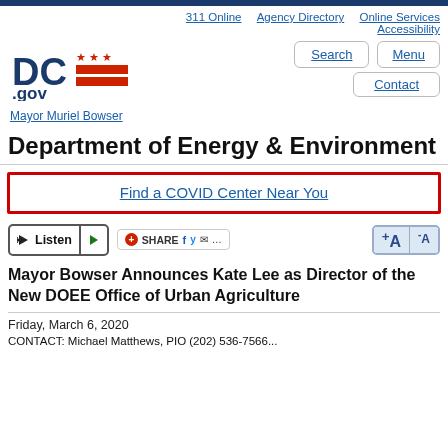311 Online   Agency Directory   Online Services   Accessibility
[Figure (logo): DC.gov logo with three stars and red bars]
Search   Menu   Contact
Mayor Muriel Bowser
Department of Energy & Environment
Find a COVID Center Near You
Listen  SHARE  +A  -A
Mayor Bowser Announces Kate Lee as Director of the New DOEE Office of Urban Agriculture
Friday, March 6, 2020
CONTACT: Michael Matthews, PIO (202) 536-7566...